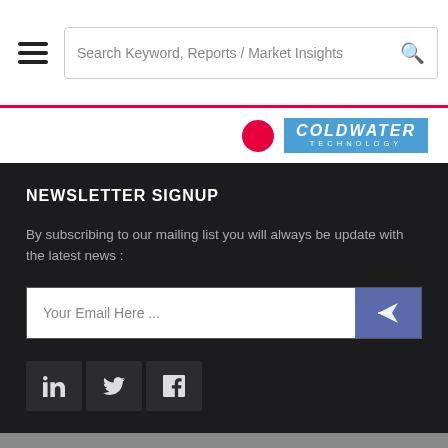Search Keyword, Reports / Market Insights
[Figure (logo): Coldwater Technology logo with blue background and letter-spaced TECHNOLOGY subtext]
NEWSLETTER SIGNUP
By subscribing to our mailing list you will always be update with the latest news :
Your Email Here ...
We use cookies to improve your website experience. To learn about our use of cookies, please see our Cookie Policy. By continuing to use the website, you consent to our use of cookies.
I Agree!